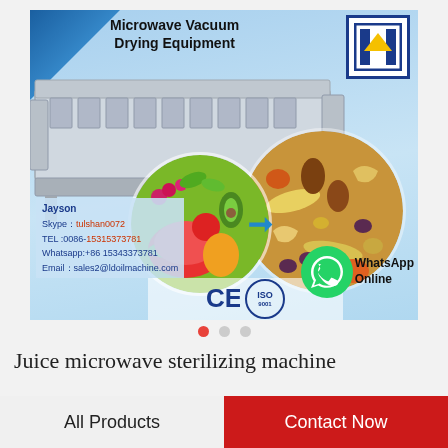[Figure (photo): Advertisement image for Microwave Vacuum Drying Equipment showing industrial conveyor machine, fresh fruits (watermelon, papaya, berries) and dried fruits/nuts, with contact information: Jayson, Skype: tulshan0072, TEL: 0086-15315373781, Whatsapp: +86 15343373781, Email: sales2@ldoilmachine.com. Includes CE and ISO 9001 certifications and WhatsApp Online button. Company logo in top right.]
Juice microwave sterilizing machine
All Products
Contact Now